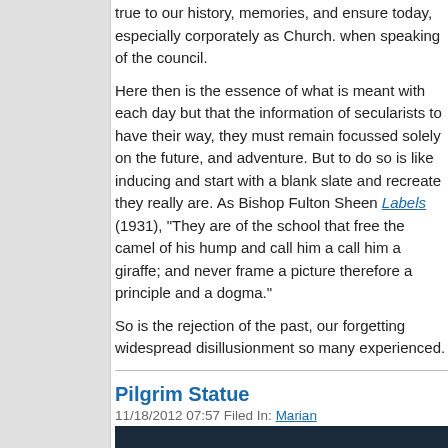true to our history, memories, and ensure today, especially corporately as Church. when speaking of the council.
Here then is the essence of what is meant with each day but that the information of secularists to have their way, they must remain focussed solely on the future, and adventure. But to do so is like inducing and start with a blank slate and recreate they really are. As Bishop Fulton Sheen Labels (1931), "They are of the school that free the camel of his hump and call him a call him a giraffe; and never frame a picture therefore a principle and a dogma."
So is the rejection of the past, our forgetting widespread disillusionment so many experienced.
Pilgrim Statue
11/18/2012 07:57 Filed In: Marian
National Pilgrim Virgin Statue
The Church of the Blessed Sacrament we Virgin Statue of Our Lady of Fatima on M the care of the World Apostolate of Fatima of the message given to the world in 1917. Statue's custodian, Mr. Bill Sockey: